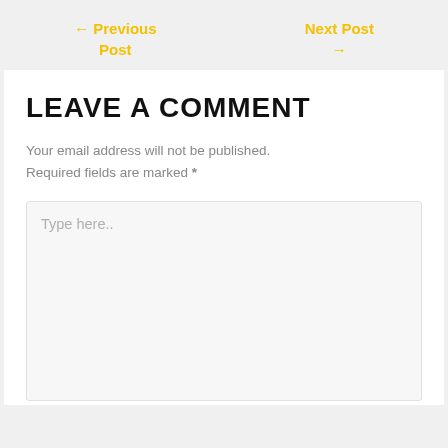← Previous Post
Next Post →
LEAVE A COMMENT
Your email address will not be published. Required fields are marked *
Type here..